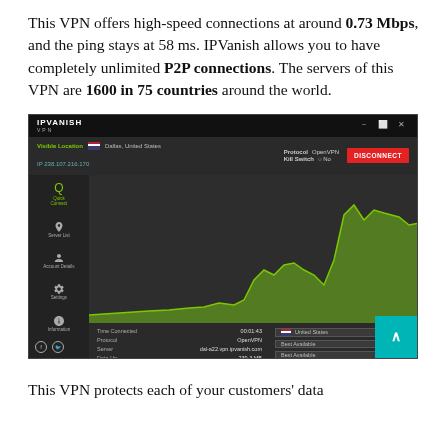This VPN offers high-speed connections at around 0.73 Mbps, and the ping stays at 58 ms. IPVanish allows you to have completely unlimited P2P connections. The servers of this VPN are 1600 in 75 countries around the world.
[Figure (screenshot): IPVanish VPN desktop application screenshot showing connected state with Dallas, United States server, OpenVPN protocol, Kill Switch off, bandwidth graph showing download 2.95 Mb/s and upload 136.04 Mb/s, connection details including time 00:01:43, Protocol OpenVPN, Server dal-a22.vpn.ipvanish.com, Data Up 239.3 MB, Data Down 153.85 MB]
This VPN protects each of your customers' data